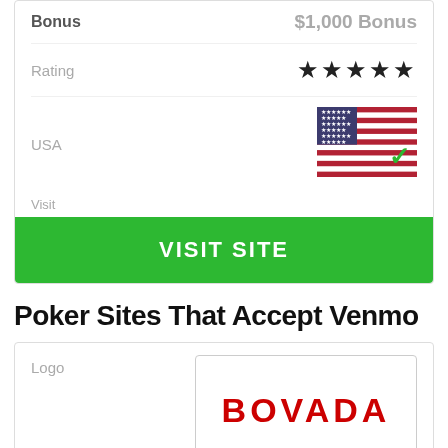Bonus
$1,000 Bonus
Rating
[Figure (infographic): Five black stars rating]
USA
[Figure (illustration): US flag with green checkmark]
Visit
VISIT SITE
Poker Sites That Accept Venmo
Logo
[Figure (logo): Bovada logo in red bold text]